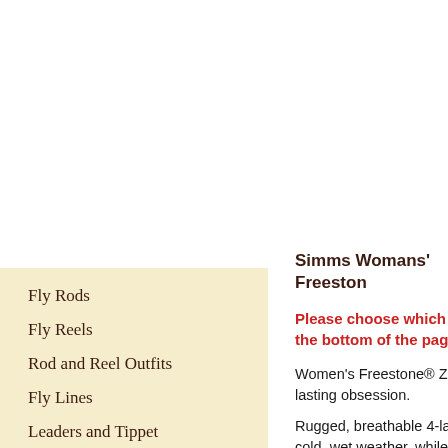Simms Womans' Freeston
Please choose which version the bottom of the page.
Women's Freestone® Z Wa lasting obsession.
Rugged, breathable 4-layer cold, wet weather, while th
Fly Rods
Fly Reels
Rod and Reel Outfits
Fly Lines
Leaders and Tippet